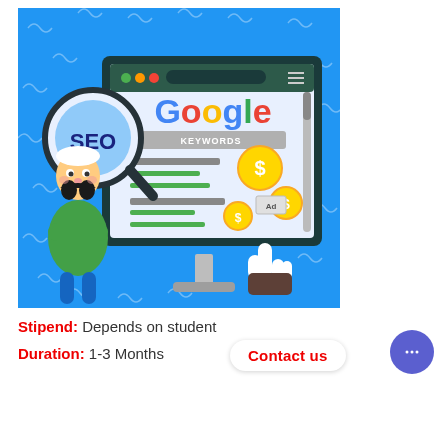[Figure (illustration): SEO and Google Keywords illustration: cartoon man with magnifying glass showing 'SEO', a browser window displaying Google with 'KEYWORDS' bar, dollar coin icons, and a pointing hand cursor, all on a blue background.]
Stipend: Depends on student
Contact us
Duration: 1-3 Months